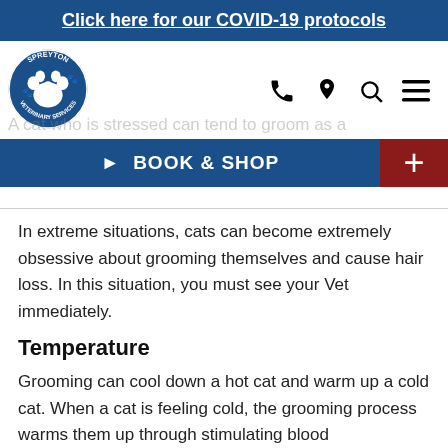Click here for our COVID-19 protocols
[Figure (logo): Spreyton Veterinary Services circular logo with paw print]
A cat who is stressed can tend to groom as a
▶ BOOK & SHOP  +
In extreme situations, cats can become extremely obsessive about grooming themselves and cause hair loss. In this situation, you must see your Vet immediately.
Temperature
Grooming can cool down a hot cat and warm up a cold cat. When a cat is feeling cold, the grooming process warms them up through stimulating blood